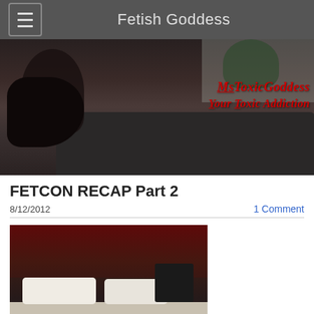Fetish Goddess
[Figure (photo): Banner photo of a woman with long dark hair, red lips, wearing dark clothing, seated on a dark leather sofa, with text overlay in red italic script reading 'MsToxicGoddess Your Toxic Addiction']
FETCON RECAP Part 2
8/12/2012
1 Comment
[Figure (photo): Dark interior photo showing what appears to be a hotel room with a bed with white pillows and dark red headboard]